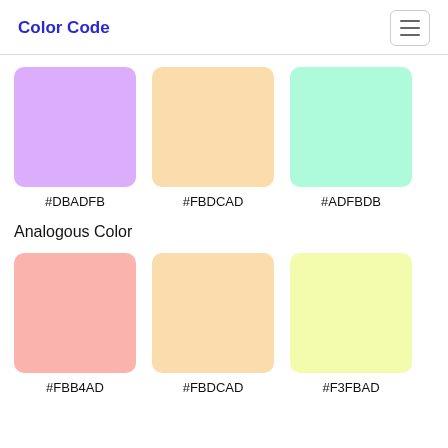Color Code
[Figure (illustration): Three color swatches in a row: purple (#DBADFB), peach (#FBDCAD), mint green (#ADFBDB) with hex labels below each]
#DBADFB
#FBDCAD
#ADFBDB
Analogous Color
[Figure (illustration): Three color swatches in a row: salmon (#FBB4AD), peach (#FBDCAD), light yellow (#F3FBAD) with hex labels below each]
#FBB4AD
#FBDCAD
#F3FBAD